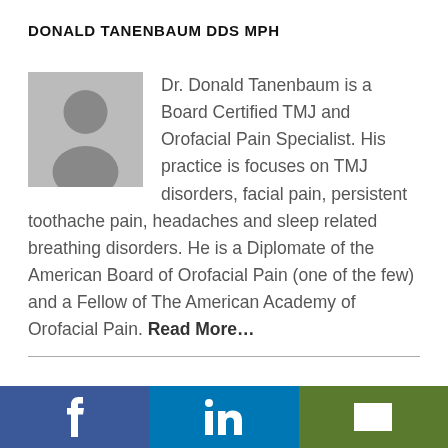DONALD TANENBAUM DDS MPH
[Figure (illustration): Generic grey placeholder avatar/silhouette icon of a person]
Dr. Donald Tanenbaum is a Board Certified TMJ and Orofacial Pain Specialist. His practice is focuses on TMJ disorders, facial pain, persistent toothache pain, headaches and sleep related breathing disorders. He is a Diplomate of the American Board of Orofacial Pain (one of the few) and a Fellow of The American Academy of Orofacial Pain. Read More…
[Figure (infographic): Social media bar with Facebook (blue), LinkedIn (blue), and email (green) buttons with white icons]